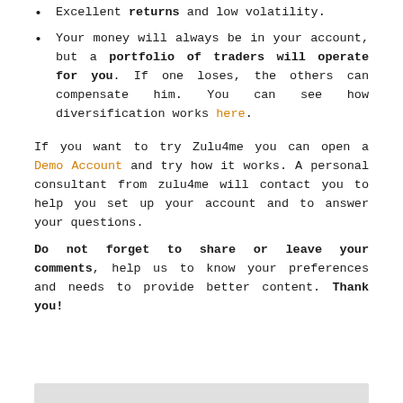Excellent returns and low volatility.
Your money will always be in your account, but a portfolio of traders will operate for you. If one loses, the others can compensate him. You can see how diversification works here.
If you want to try Zulu4me you can open a Demo Account and try how it works. A personal consultant from zulu4me will contact you to help you set up your account and to answer your questions.
Do not forget to share or leave your comments, help us to know your preferences and needs to provide better content. Thank you!